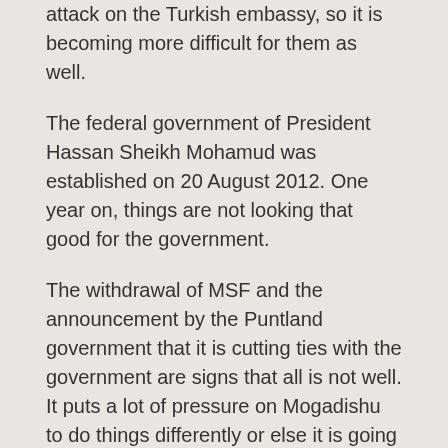attack on the Turkish embassy, so it is becoming more difficult for them as well.
The federal government of President Hassan Sheikh Mohamud was established on 20 August 2012. One year on, things are not looking that good for the government.
The withdrawal of MSF and the announcement by the Puntland government that it is cutting ties with the government are signs that all is not well. It puts a lot of pressure on Mogadishu to do things differently or else it is going to be very difficult for it to sustain its credibility in the eyes of the people for four years.
There has also been strife between the central government and the local leaders in Kismayo.